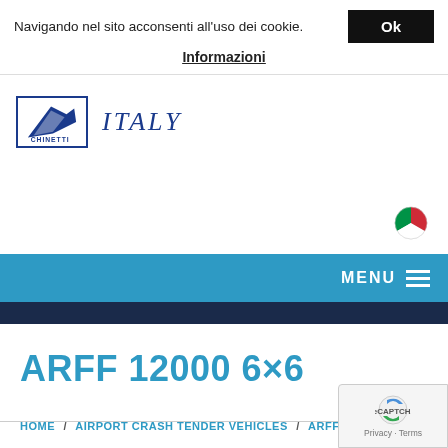Navigando nel sito acconsenti all'uso dei cookie.  Ok
Informazioni
[Figure (logo): Chinetti Italy logo with blue wing/arrow graphic and ITALY text in italic]
[Figure (illustration): Italian flag circle icon]
MENU
ARFF 12000 6×6
HOME  /  AIRPORT CRASH TENDER VEHICLES  /  ARFF 12000 6×6